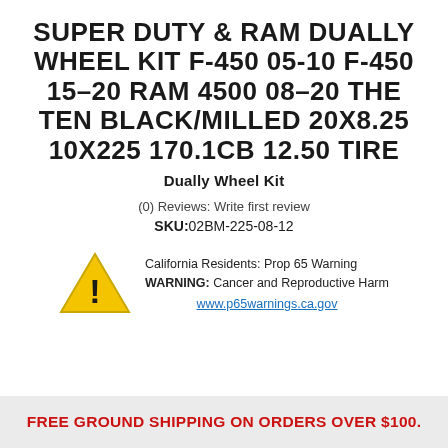SUPER DUTY & RAM DUALLY WHEEL KIT F-450 05-10 F-450 15-20 RAM 4500 08-20 THE TEN BLACK/MILLED 20X8.25 10X225 170.1CB 12.50 TIRE
Dually Wheel Kit
(0) Reviews: Write first review
SKU:02BM-225-08-12
California Residents: Prop 65 Warning
WARNING: Cancer and Reproductive Harm
www.p65warnings.ca.gov
FREE GROUND SHIPPING ON ORDERS OVER $100.